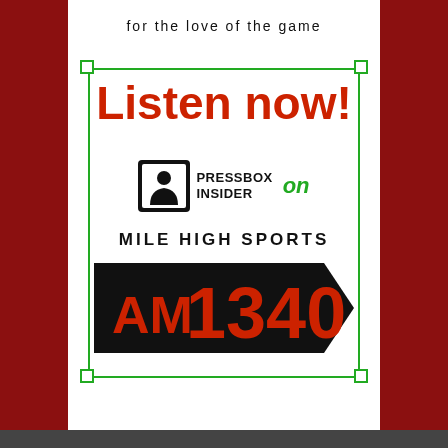for the love of the game
[Figure (logo): Listen now! Pressbox Insider on Mile High Sports AM 1340 advertisement with green decorative border and corner squares]